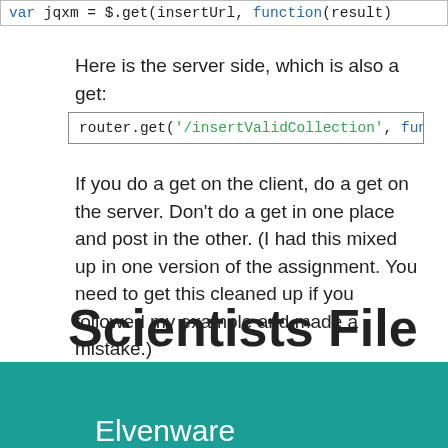var jqxm = $.get(insertUrl, function(result)
Here is the server side, which is also a get:
router.get('/insertValidCollection', function(
If you do a get on the client, do a get on the server. Don't do a get in one place and post in the other. (I had this mixed up in one version of the assignment. You need to get this cleaned up if you followed my example and made a mistake.)
Scientists File
Be sure to add the code to ignore scientists.
Elvenware